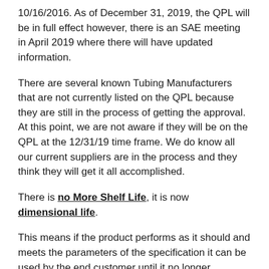10/16/2016. As of December 31, 2019, the QPL will be in full effect however, there is an SAE meeting in April 2019 where there will have updated information.
There are several known Tubing Manufacturers that are not currently listed on the QPL because they are still in the process of getting the approval. At this point, we are not aware if they will be on the QPL at the 12/31/19 time frame. We do know all our current suppliers are in the process and they think they will get it all accomplished.
There is no More Shelf Life, it is now dimensional life.
This means if the product performs as it should and meets the parameters of the specification it can be used by the end customer until it no longer performs.